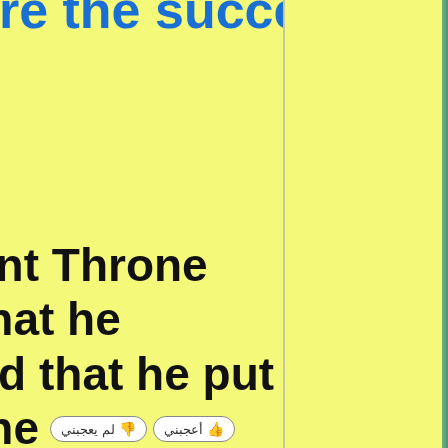are the successful.
ent Throne that he
nd that he put the
s on the day of
ve victory to His
one their righteous
able of doing it